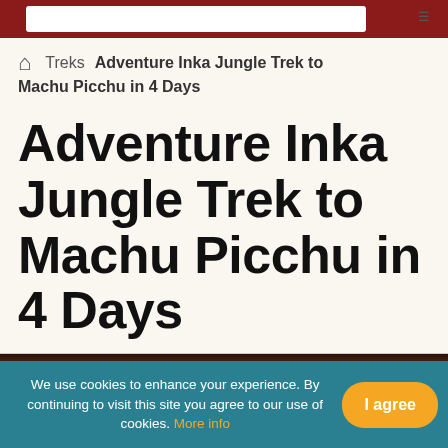Adventure Inka Jungle Trek to Machu Picchu in 4 Days
Treks  Adventure Inka Jungle Trek to Machu Picchu in 4 Days
Adventure Inka Jungle Trek to Machu Picchu in 4 Days
[Figure (photo): Dark photo strip showing jungle or mountain scenery]
We use cookies to enhance your experience. By continuing to visit this site you agree to our use of cookies. More info